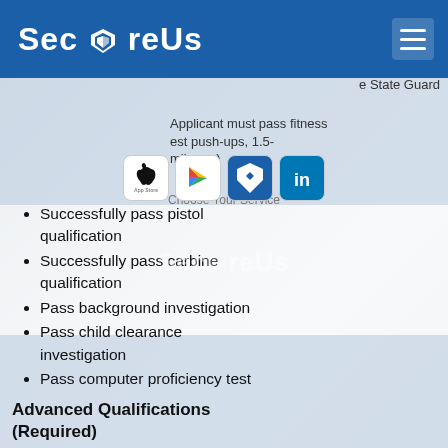[Figure (logo): SecureUs logo on blue background navigation bar with hamburger menu icon]
Successfully pass pistol qualification
Successfully pass carbine qualification
Pass background investigation
Pass child clearance investigation
Pass computer proficiency test
Advanced Qualifications (Required)
Executive Protection certificate of training
Bachelor's Degree
Defensive Driver certificate
First Responder training
Additional Certifications